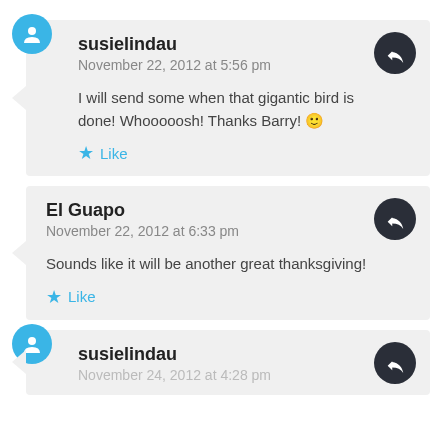susielindau
November 22, 2012 at 5:56 pm
I will send some when that gigantic bird is done! Whooooosh! Thanks Barry! 🙂
Like
El Guapo
November 22, 2012 at 6:33 pm
Sounds like it will be another great thanksgiving!
Like
susielindau
November 24, 2012 at 4:28 pm